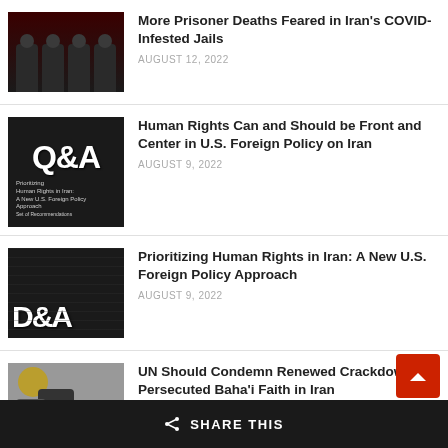More Prisoner Deaths Feared in Iran's COVID-Infested Jails — AUGUST 12, 2022
Human Rights Can and Should be Front and Center in U.S. Foreign Policy on Iran — AUGUST 9, 2022
Prioritizing Human Rights in Iran: A New U.S. Foreign Policy Approach — AUGUST 9, 2022
UN Should Condemn Renewed Crackdown on Persecuted Baha'i Faith in Iran — AUGUST 5, 2022
SHARE THIS